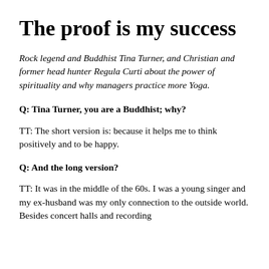The proof is my success
Rock legend and Buddhist Tina Turner, and Christian and former head hunter Regula Curti about the power of spirituality and why managers practice more Yoga.
Q: Tina Turner, you are a Buddhist; why?
TT: The short version is: because it helps me to think positively and to be happy.
Q: And the long version?
TT: It was in the middle of the 60s. I was a young singer and my ex-husband was my only connection to the outside world. Besides concert halls and recording